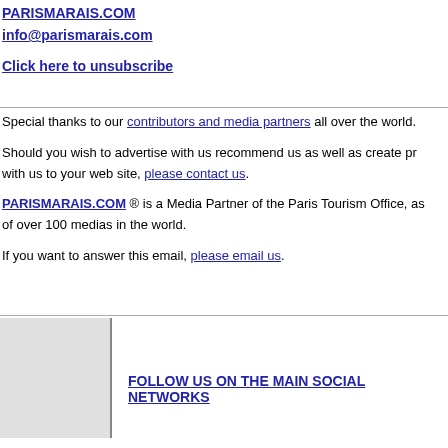PARISMARAIS.COM
info@parismarais.com
Click here to unsubscribe
Special thanks to our contributors and media partners all over the world.
Should you wish to advertise with us recommend us as well as create pr... with us to your web site, please contact us.
PARISMARAIS.COM ® is a Media Partner of the Paris Tourism Office, as... of over 100 medias in the world.
If you want to answer this email, please email us.
[Figure (logo): Gray placeholder box representing the ParisMarais logo]
FOLLOW US ON THE MAIN SOCIAL NETWORKS